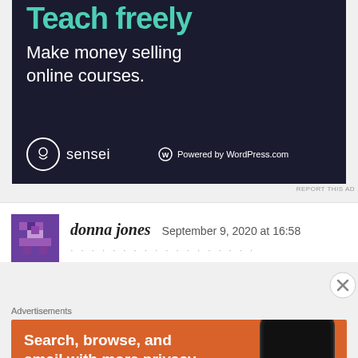[Figure (screenshot): Sensei advertisement on dark navy background: large teal text 'Teach freely', white text 'Make money selling online courses.', Sensei logo and 'Powered by WordPress.com' at the bottom.]
REPORT THIS AD
[Figure (screenshot): Purple pixel avatar for commenter donna jones]
donna jones   September 9, 2020 at 16:58
Advertisements
[Figure (screenshot): DuckDuckGo advertisement on orange background: 'Search, browse, and email with more privacy. All in One Free App' with phone image and DuckDuckGo logo.]